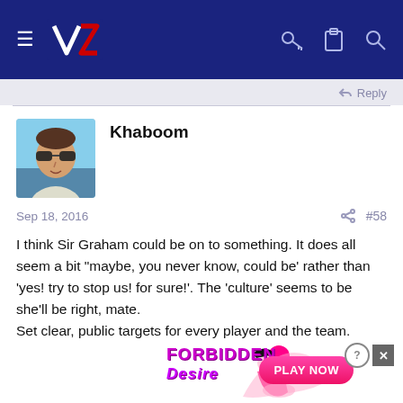[Figure (screenshot): Website navigation bar with dark blue background, hamburger menu icon, NZ logo, and icons for key, clipboard, and search on the right]
Reply
Khaboom
[Figure (photo): Avatar photo of a man wearing sunglasses outdoors]
Sep 18, 2016
#58
I think Sir Graham could be on to something. It does all seem a bit "maybe, you never know, could be' rather than 'yes! try to stop us! for sure!'. The 'culture' seems to be she'll be right, mate.
Set clear, public targets for every player and the team.
jonno
Reply
[Figure (infographic): Advertisement banner for 'Forbidden Desire' with PLAY NOW button]